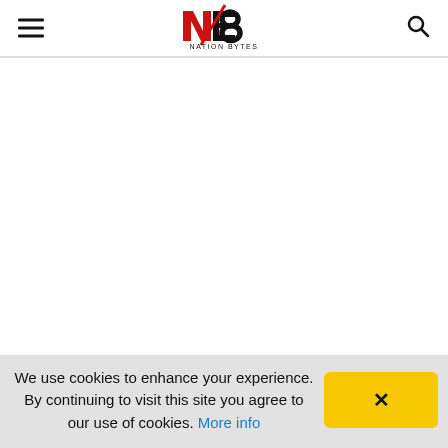Nation Bytes - NB logo, hamburger menu, search icon
[Figure (other): Nation Bytes (NB) logo - stylized letters NB in red and black with 'NATION BYTES' text below]
[Figure (other): Large white advertisement/blank area below header]
The Nobel honouree massively attracted social media and won
We use cookies to enhance your experience. By continuing to visit this site you agree to our use of cookies. More info